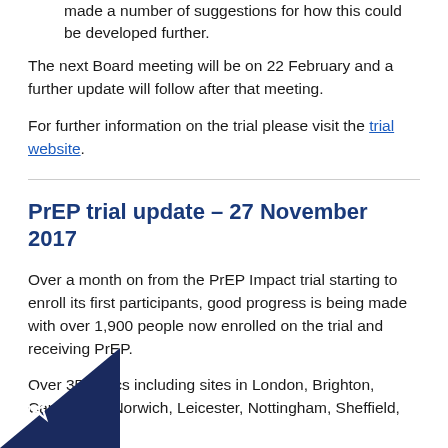made a number of suggestions for how this could be developed further.
The next Board meeting will be on 22 February and a further update will follow after that meeting.
For further information on the trial please visit the trial website.
PrEP trial update – 27 November 2017
Over a month on from the PrEP Impact trial starting to enroll its first participants, good progress is being made with over 1,900 people now enrolled on the trial and receiving PrEP.
Over 35 clinics including sites in London, Brighton, Cambridge, Norwich, Leicester, Nottingham, Sheffield,